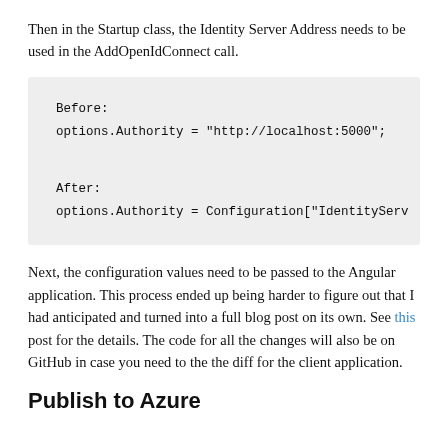Then in the Startup class, the Identity Server Address needs to be used in the AddOpenIdConnect call.
Before:
options.Authority = "http://localhost:5000";

After:
options.Authority = Configuration["IdentityServ
Next, the configuration values need to be passed to the Angular application. This process ended up being harder to figure out that I had anticipated and turned into a full blog post on its own. See this post for the details. The code for all the changes will also be on GitHub in case you need to the the diff for the client application.
Publish to Azure